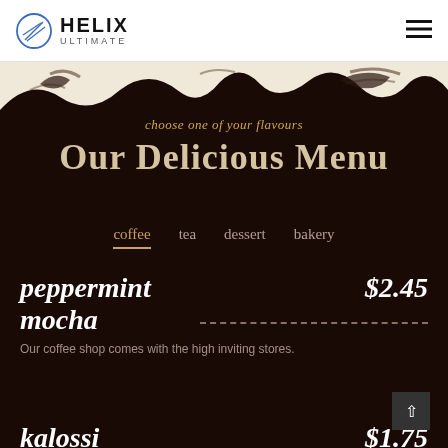HELIX ULTIMATE
[Figure (illustration): Helix Ultimate logo with circular icon containing diagonal lines, company name in bold caps with ULTIMATE subtitle]
choose one of your flavours
Our Delicious Menu
coffee
tea
dessert
bakery
peppermint mocha
$2.45
Our coffee shop comes with the high inviting stores.
kalossi coffee
$1.75